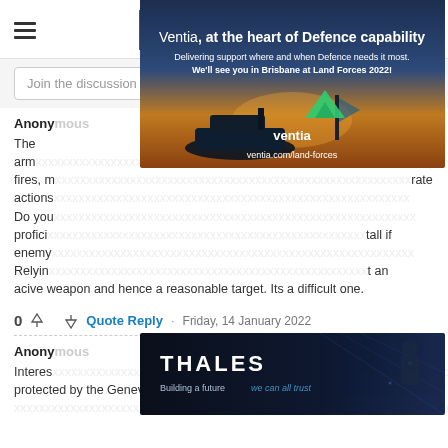Defence Connect
Join the discussion
Anonymous
The army... indirect fires, m... rate actions... Do you... profici... tall if enemy... Relying... t an acive weapon and hence a reasonable target. Its a difficult one.
[Figure (photo): Ventia advertisement: 'Ventia, at the heart of Defence capability. Delivering support where and when Defence needs it most. We'll see you in Brisbane at Land Forces 2022!' with ventia.com/land-forces URL and military vehicle silhouette at sunset.]
0  Quote Reply  ·  Friday, 14 January 2022
Anonymous
Interes... are protected by the Geneva convention in the performance of their duties but
[Figure (photo): Thales advertisement: 'THALES - Building a future we can all trust' with soldier and digital background.]